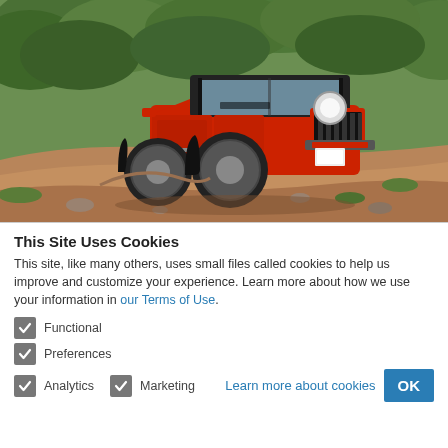[Figure (photo): Red Jeep Wrangler Rubicon driving on a rocky off-road trail with green trees in the background]
This Site Uses Cookies
This site, like many others, uses small files called cookies to help us improve and customize your experience. Learn more about how we use your information in our Terms of Use.
Functional
Preferences
Analytics
Marketing
Learn more about cookies
OK